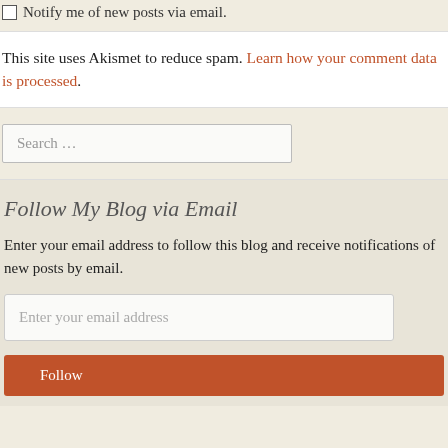☐ Notify me of new posts via email.
This site uses Akismet to reduce spam. Learn how your comment data is processed.
Search …
Follow My Blog via Email
Enter your email address to follow this blog and receive notifications of new posts by email.
Enter your email address
Follow